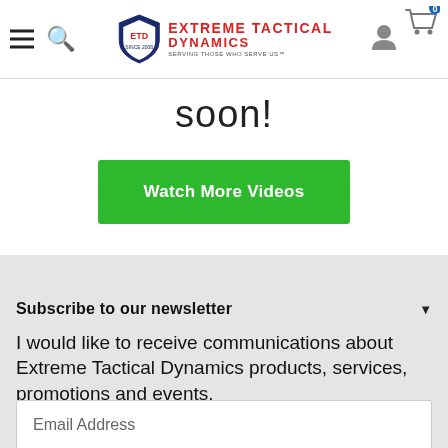Extreme Tactical Dynamics — navigation header with hamburger menu, search, logo, user icon, and cart (0)
soon!
Watch More Videos
Subscribe to our newsletter
I would like to receive communications about Extreme Tactical Dynamics products, services, promotions and events.
Email Address